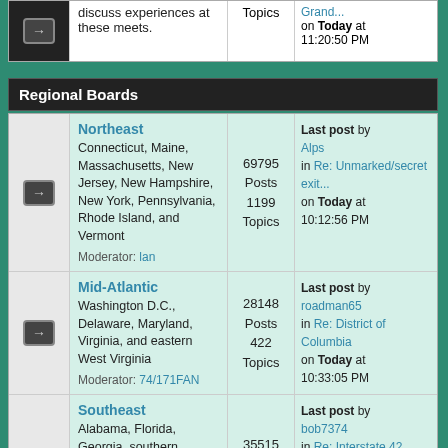discuss experiences at these meets.
Regional Boards
| Icon | Board | Stats | Last Post |
| --- | --- | --- | --- |
| → | Northeast
Connecticut, Maine, Massachusetts, New Jersey, New Hampshire, New York, Pennsylvania, Rhode Island, and Vermont
Moderator: lan | 69795 Posts
1199 Topics | Last post by Alps in Re: Unmarked/secret exit... on Today at 10:12:56 PM |
| → | Mid-Atlantic
Washington D.C., Delaware, Maryland, Virginia, and eastern West Virginia
Moderator: 74/171FAN | 28148 Posts
422 Topics | Last post by roadman65 in Re: District of Columbia on Today at 10:33:05 PM |
| → | Southeast
Alabama, Florida, Georgia, southern Mississippi, southeast Louisiana, South Carolina, North Carolina, and Tennessee
Moderator: florida | 35515 Posts
771 Topics | Last post by bob7374 in Re: Interstate 42 on Today at 12:07:40 PM |
| → | Midwest - Great Lakes
Michigan, northern Illinois, northern Indiana, northern Ohio, Wisconsin, eastern Minnesota... | 40214 Posts | Last post by thenetwork in Re: Ohio on Today at 11:44:55 PM |